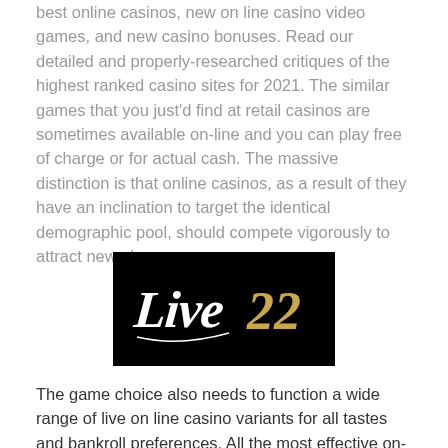best online casinos, new on line casino video games, and new casino bonuses. Read our detailed and properly-researched critiques of the highest ranked casino sites for 2021. The similar games that you just'd find at retail casinos are sometimes available on-line and you can play free of charge or for actual cash. The massive distinction is that online casinos, as a result of they have an inclination to target the identical demographic pool, should compete vigorously to attract new players.
[Figure (logo): Live22 casino logo — white cursive 'Live' text with gold '22' on black background]
The game choice also needs to function a wide range of live on line casino variants for all tastes and bankroll preferences. All the most effective on-line casinos welcome players with many bonuses or free spins o...